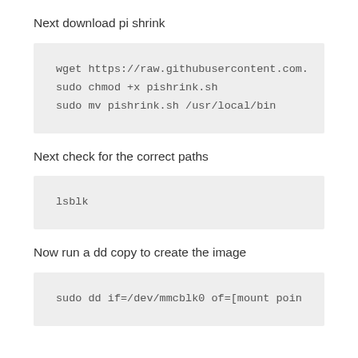Next download pi shrink
wget https://raw.githubusercontent.com...
sudo chmod +x pishrink.sh
sudo mv pishrink.sh /usr/local/bin
Next check for the correct paths
lsblk
Now run a dd copy to create the image
sudo dd if=/dev/mmcblk0 of=[mount poin...